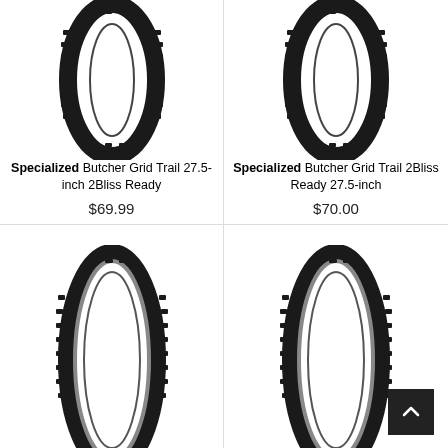[Figure (photo): Mountain bike tire - Specialized Butcher Grid Trail 27.5-inch 2Bliss Ready, top left]
Specialized
Butcher Grid Trail 27.5-inch 2Bliss Ready
$69.99
[Figure (photo): Mountain bike tire - Specialized Butcher Grid Trail 2Bliss Ready 27.5-inch, top right]
Specialized
Butcher Grid Trail 2Bliss Ready 27.5-inch
$70.00
[Figure (photo): Mountain bike tire - bottom left, partially visible]
[Figure (photo): Mountain bike tire - bottom right, partially visible]